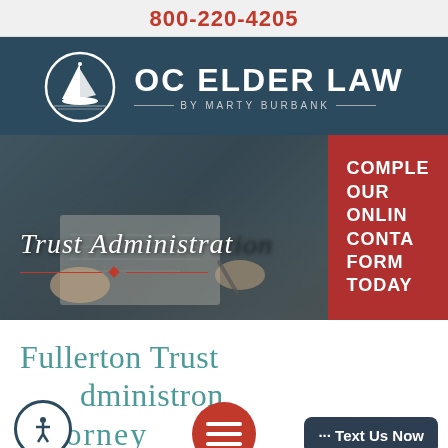800-220-4205
[Figure (logo): OC Elder Law by Marty Burbank logo with sailboat in circle and text]
[Figure (photo): Hero banner showing hands signing documents with text 'Trust Administration' and a red CTA box reading 'COMPLETE OUR ONLINE CONTACT FORM TODAY']
Fullerton Trust Administration Attorney